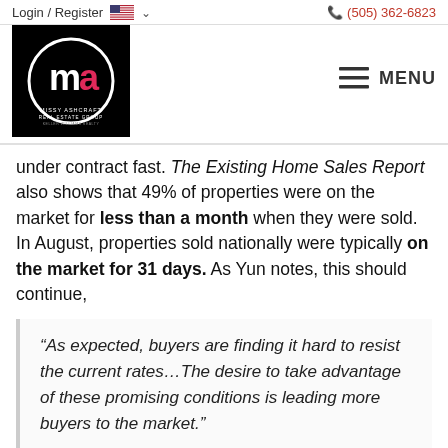Login / Register   🇺🇸 ∨   (505) 362-6823
[Figure (logo): Missy Ashcraft Real Estate Group logo — white circle with stylized 'm' and 'a' letters on black background, text 'MISSY ASHCRAFT REAL ESTATE GROUP' below]
under contract fast. The Existing Home Sales Report also shows that 49% of properties were on the market for less than a month when they were sold. In August, properties sold nationally were typically on the market for 31 days. As Yun notes, this should continue,
“As expected, buyers are finding it hard to resist the current rates…The desire to take advantage of these promising conditions is leading more buyers to the market.”